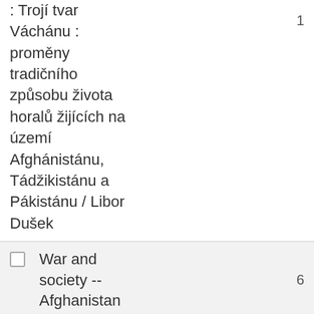: Trojí tvar Váchánu : proměny tradičního způsobu života horalů žijících na území Afghánistánu, Tádžikistánu a Pákistánu / Libor Dušek
War and society -- Afghanistan
War correspondents -- Afghanistan